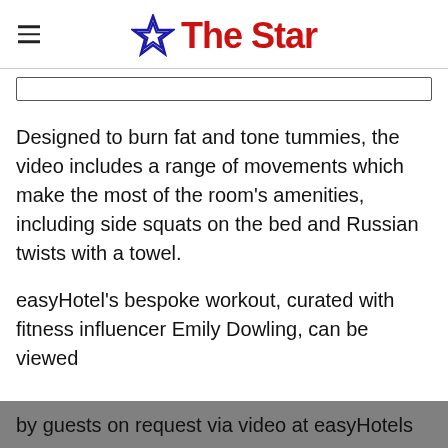The Star
Designed to burn fat and tone tummies, the video includes a range of movements which make the most of the room's amenities, including side squats on the bed and Russian twists with a towel.
easyHotel's bespoke workout, curated with fitness influencer Emily Dowling, can be viewed by guests on request via video at easyHotels